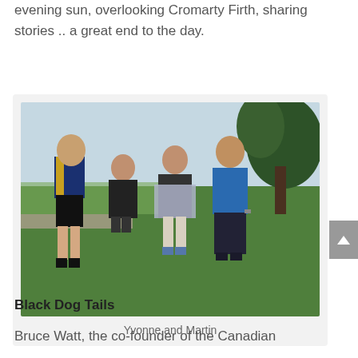evening sun, overlooking Cromarty Firth, sharing stories .. a great end to the day.
[Figure (photo): Four people (two men, two women) standing together outdoors on a lawn with trees and open countryside in the background, posing for a group photo.]
Yvonne and Martin
Black Dog Tails
Bruce Watt, the co-founder of the Canadian